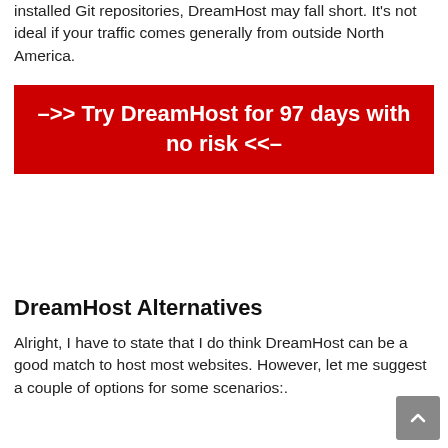installed Git repositories, DreamHost may fall short. It's not ideal if your traffic comes generally from outside North America.
[Figure (infographic): Red banner call-to-action button with white bold text reading: –>> Try DreamHost for 97 days with no risk <<–]
DreamHost Alternatives
Alright, I have to state that I do think DreamHost can be a good match to host most websites. However, let me suggest a couple of options for some scenarios:.